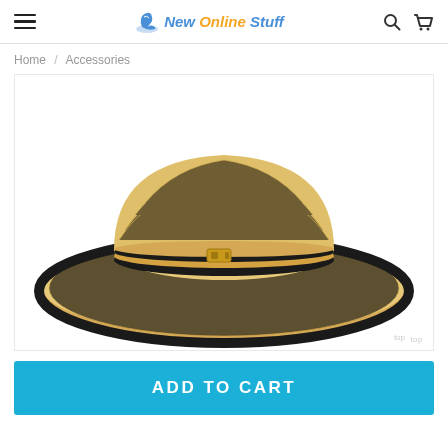New Online Stuff
Home / Accessories
[Figure (photo): A wide-brim straw sun hat with black and tan striped band and black trim on the brim, photographed from above on a white background.]
ADD TO CART